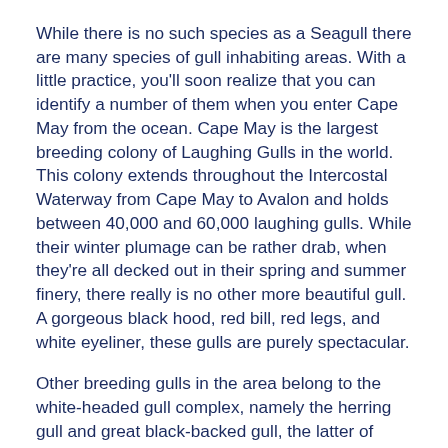While there is no such species as a Seagull there are many species of gull inhabiting areas. With a little practice, you'll soon realize that you can identify a number of them when you enter Cape May from the ocean. Cape May is the largest breeding colony of Laughing Gulls in the world. This colony extends throughout the Intercostal Waterway from Cape May to Avalon and holds between 40,000 and 60,000 laughing gulls. While their winter plumage can be rather drab, when they're all decked out in their spring and summer finery, there really is no other more beautiful gull. A gorgeous black hood, red bill, red legs, and white eyeliner, these gulls are purely spectacular.
Other breeding gulls in the area belong to the white-headed gull complex, namely the herring gull and great black-backed gull, the latter of which is the largest gull in the world, with the adult birds at least easily told by their jet-black backs. Adult herring gulls, in contrast, sport light gray backs, black wingtips, and a bold yellow bill. You can find them in the Cape att...